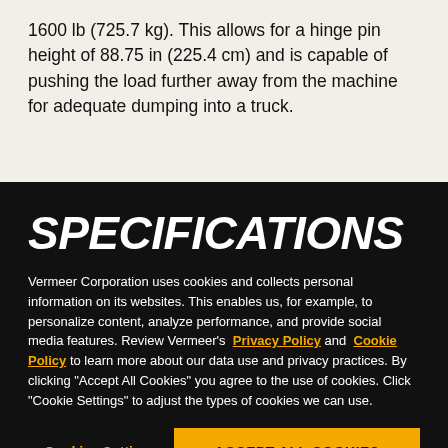1600 lb (725.7 kg). This allows for a hinge pin height of 88.75 in (225.4 cm) and is capable of pushing the load further away from the machine for adequate dumping into a truck.
SPECIFICATIONS
Vermeer Corporation uses cookies and collects personal information on its websites. This enables us, for example, to personalize content, analyze performance, and provide social media features. Review Vermeer's Privacy Policy and Cookie Policy to learn more about our data use and privacy practices. By clicking "Accept All Cookies" you agree to the use of cookies. Click "Cookie Settings" to adjust the types of cookies we can use.
Cookies Settings | ACCEPT ALL COOKIES